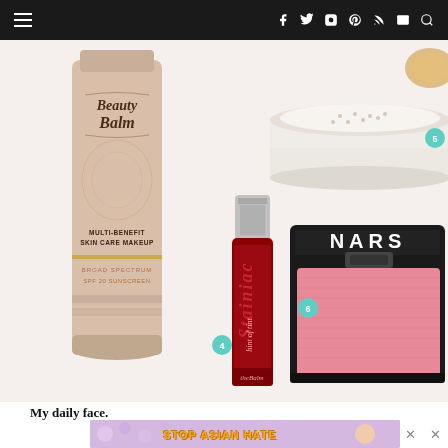Navigation header with hamburger menu and social icons (Facebook, Twitter, Instagram, Pinterest, RSS, Email, Search)
[Figure (photo): Collage of beauty/makeup products: (4) theBalm Stainiac hint of tint lip gloss in red, (5) loose face powder in clear container, (6) NARS blush compact in pink, and theBalm Beauty Balm BB cream tube labeled MULTI-BENEFIT SKIN CARE MAKEUP BROAD SPECTRUM SPF 20 SUNSCREEN]
My daily face.
[Figure (infographic): STOP ASIAN HATE advertisement banner with floral design and cartoon character]